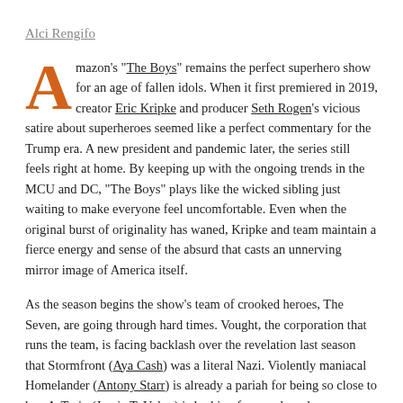Alci Rengifo
Amazon's "The Boys" remains the perfect superhero show for an age of fallen idols. When it first premiered in 2019, creator Eric Kripke and producer Seth Rogen's vicious satire about superheroes seemed like a perfect commentary for the Trump era. A new president and pandemic later, the series still feels right at home. By keeping up with the ongoing trends in the MCU and DC, "The Boys" plays like the wicked sibling just waiting to make everyone feel uncomfortable. Even when the original burst of originality has waned, Kripke and team maintain a fierce energy and sense of the absurd that casts an unnerving mirror image of America itself.
As the season begins the show's team of crooked heroes, The Seven, are going through hard times. Vought, the corporation that runs the team, is facing backlash over the revelation last season that Stormfront (Aya Cash) was a literal Nazi. Violently maniacal Homelander (Antony Starr) is already a pariah for being so close to her. A-Train (Jessie T. Usher) is looking for new brand opportunities since his super speed has been brought down a notch by heart issues. Queen Maeve (Dominique McElligott) has